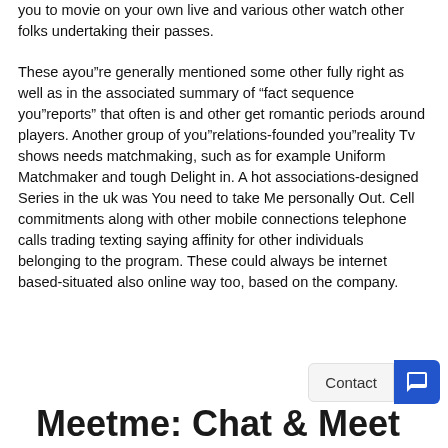you to movie on your own live and various other watch other folks undertaking their passes.
These ayou”re generally mentioned some other fully right as well as in the associated summary of “fact sequence you”reports” that often is and other get romantic periods around players. Another group of you”relations-founded you”reality Tv shows needs matchmaking, such as for example Uniform Matchmaker and tough Delight in. A hot associations-designed Series in the uk was You need to take Me personally Out. Cell commitments along with other mobile connections telephone calls trading texting saying affinity for other individuals belonging to the program. These could always be internet based-situated also online way too, based on the company.
Meetme: Chat & Meet